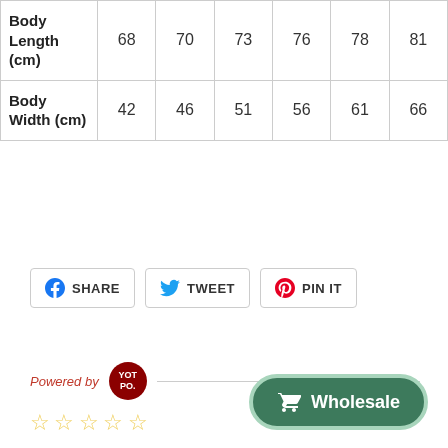|  |  |  |  |  |  |  |
| --- | --- | --- | --- | --- | --- | --- |
| Body Length (cm) | 68 | 70 | 73 | 76 | 78 | 81 |
| Body Width (cm) | 42 | 46 | 51 | 56 | 61 | 66 |
SHARE   TWEET   PIN IT
Powered by YOT PO.
☆☆☆☆☆
Wholesale